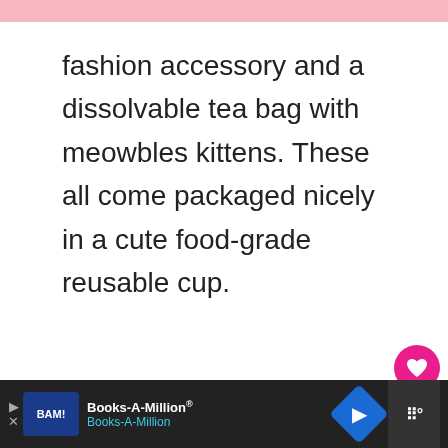fashion accessory and a dissolvable tea bag with meowbles kittens. These all come packaged nicely in a cute food-grade reusable cup.
6. MERMAID REVERSIBLE SEQUIN DRAWSTRING BACKPACK